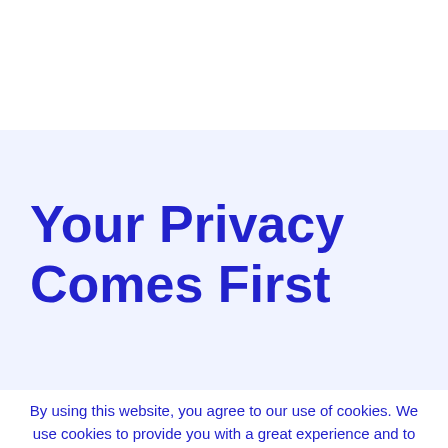Your Privacy Comes First
By using this website, you agree to our use of cookies. We use cookies to provide you with a great experience and to help our website run effectively.
Agree